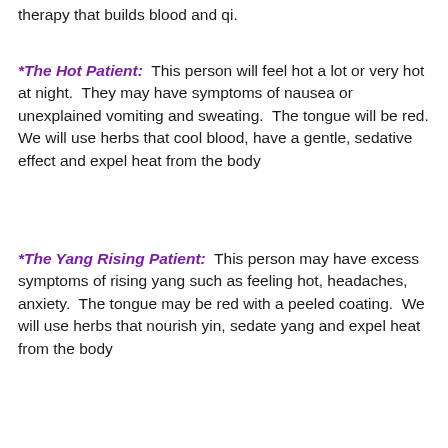therapy that builds blood and qi.
*The Hot Patient: This person will feel hot a lot or very hot at night. They may have symptoms of nausea or unexplained vomiting and sweating. The tongue will be red. We will use herbs that cool blood, have a gentle, sedative effect and expel heat from the body
*The Yang Rising Patient: This person may have excess symptoms of rising yang such as feeling hot, headaches, anxiety. The tongue may be red with a peeled coating. We will use herbs that nourish yin, sedate yang and expel heat from the body